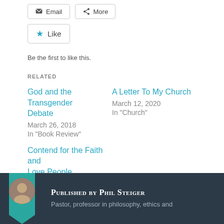[Figure (screenshot): Email and More sharing buttons at top]
[Figure (screenshot): Like button with star icon]
Be the first to like this.
RELATED
God and the Transgender Debate
March 26, 2018
In "Book Review"
A Letter To My Church
March 12, 2020
In "Church"
Contend for the Faith and Love People
January 18, 2020
In "Church"
Published by Phil Steiger
Pastor, professor in philosophy, ethics and